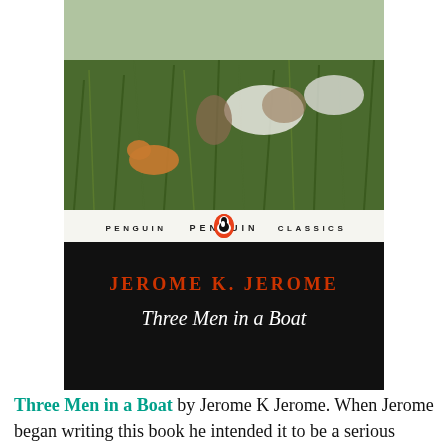[Figure (photo): Book cover of 'Three Men in a Boat' published by Penguin Classics. Top portion shows a painting/illustration of people resting in tall grass. Below is a white strip with 'PENGUIN CLASSICS' text and the Penguin logo (orange oval). Bottom portion of cover is black with 'JEROME K. JEROME' in red/orange serif capitals and 'Three Men in a Boat' in white italic text.]
Three Men in a Boat by Jerome K Jerome. When Jerome began writing this book he intended it to be a serious travel book about the Thames, its scenery and history, but, as he wrote, it turned into a funny book. The Thames remains at the centre of the book but...